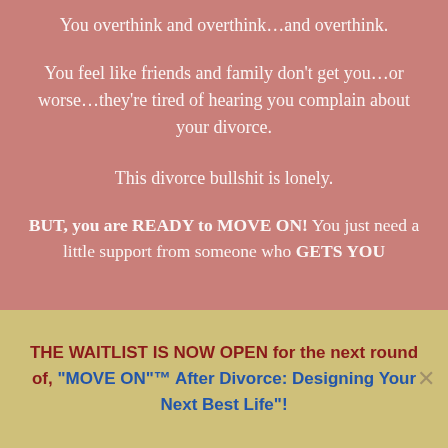You overthink and overthink…and overthink.
You feel like friends and family don't get you…or worse…they're tired of hearing you complain about your divorce.
This divorce bullshit is lonely.
BUT, you are READY to MOVE ON! You just need a little support from someone who GETS YOU
THE WAITLIST IS NOW OPEN for the next round of, "MOVE ON"™ After Divorce: Designing Your Next Best Life"!